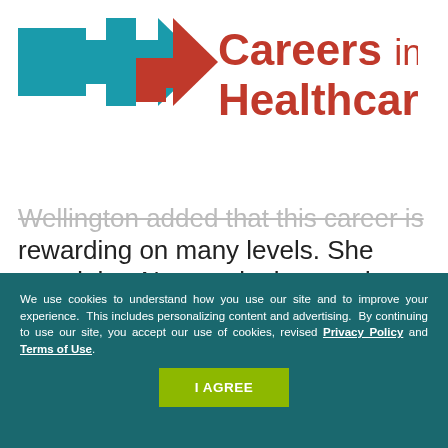[Figure (logo): Careers in Healthcare logo with teal square, teal cross/arrow shape with red triangle accent, and red text reading 'Careers in Healthcare']
Wellington added that this career is rewarding on many levels. She noted that Neonatologists tend to perform more procedures than general Pediatricians, and therefore they get to know and support many families throughout their childbirth journeys.
We use cookies to understand how you use our site and to improve your experience. This includes personalizing content and advertising. By continuing to use our site, you accept our use of cookies, revised Privacy Policy and Terms of Use.